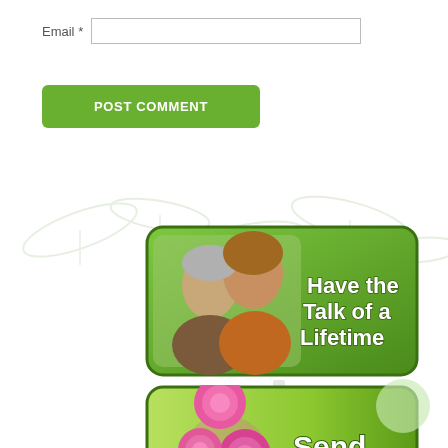Email *
[Figure (illustration): Green POST COMMENT button]
[Figure (illustration): Banner showing two women (elderly and younger) smiling together with text 'Have the Talk of a Lifetime' on a green gradient rounded rectangle background]
[Figure (illustration): Banner showing pink roses bouquet with text 'Send Flowers' on a green gradient rounded rectangle background]
[Figure (illustration): Small pale green decorative circle in bottom right corner]